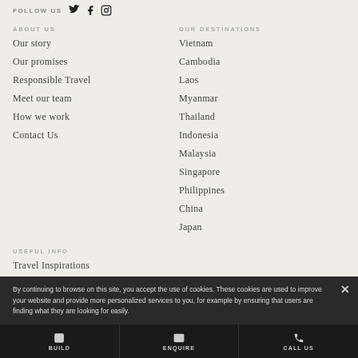FOLLOW US
Our story
Our promises
Responsible Travel
Meet our team
How we work
Contact Us
ABOUT US
OUR DESTINATIONS
Vietnam
Cambodia
Laos
Myanmar
Thailand
Indonesia
Malaysia
Singapore
Philippines
China
Japan
USEFUL INFO
Travel Inspirations
Deposit & Payment
Cancellation Policy
By continuing to browse on this site, you accept the use of cookies. These cookies are used to improve your website and provide more personalized services to you, for example by ensuring that users are finding what they are looking for easily.
BUILD
ENQUIRE
CALL US